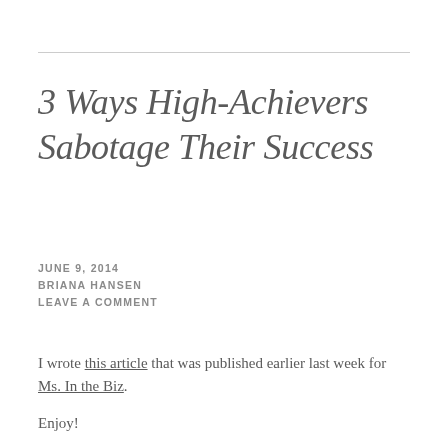3 Ways High-Achievers Sabotage Their Success
JUNE 9, 2014
BRIANA HANSEN
LEAVE A COMMENT
I wrote this article that was published earlier last week for Ms. In the Biz.
Enjoy!